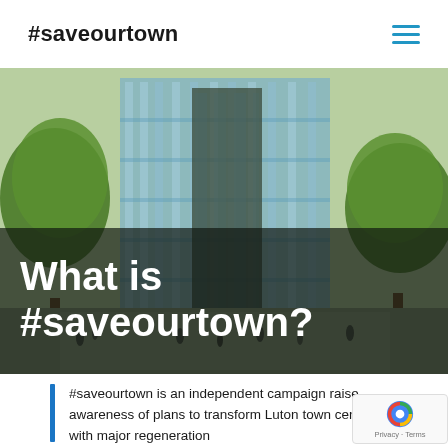#saveourtown
[Figure (photo): Architectural rendering of a modern glass building surrounded by trees, with people walking in an urban plaza. Semi-transparent dark overlay covers the lower portion.]
What is #saveourtown?
#saveourtown is an independent campaign raise awareness of plans to transform Luton town centre with major regeneration